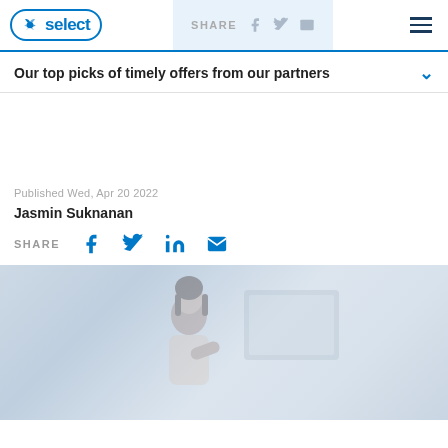NBC Select | SHARE [social icons] [hamburger menu]
Our top picks of timely offers from our partners
Published Wed, Apr 20 2022
Jasmin Suknanan
SHARE [facebook] [twitter] [linkedin] [email]
[Figure (photo): A woman with glasses smiling while looking at her phone, seated near a desk with a computer monitor in the background. Faded/muted color tones.]